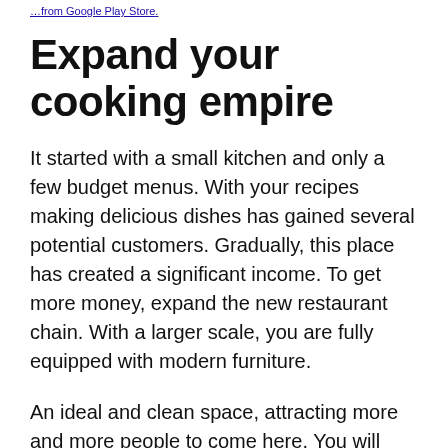…from Google Play Store.
Expand your cooking empire
It started with a small kitchen and only a few budget menus. With your recipes making delicious dishes has gained several potential customers. Gradually, this place has created a significant income. To get more money, expand the new restaurant chain. With a larger scale, you are fully equipped with modern furniture.
An ideal and clean space, attracting more and more people to come here. You will own more new restaurants, and the work will also